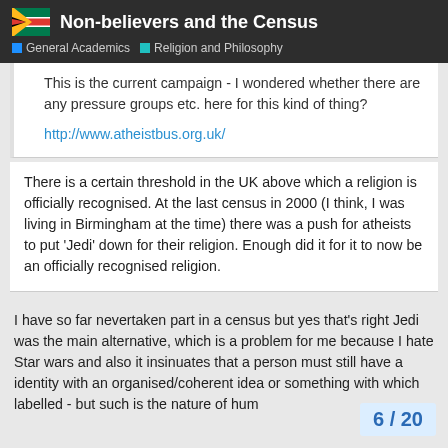Non-believers and the Census
General Academics · Religion and Philosophy
This is the current campaign - I wondered whether there are any pressure groups etc. here for this kind of thing?
http://www.atheistbus.org.uk/
There is a certain threshold in the UK above which a religion is officially recognised. At the last census in 2000 (I think, I was living in Birmingham at the time) there was a push for atheists to put 'Jedi' down for their religion. Enough did it for it to now be an officially recognised religion.
I have so far nevertaken part in a census but yes that's right Jedi was the main alternative, which is a problem for me because I hate Star wars and also it insinuates that a person must still have a identity with an organised/coherent idea or something with which labelled - but such is the nature of hum
6 / 20